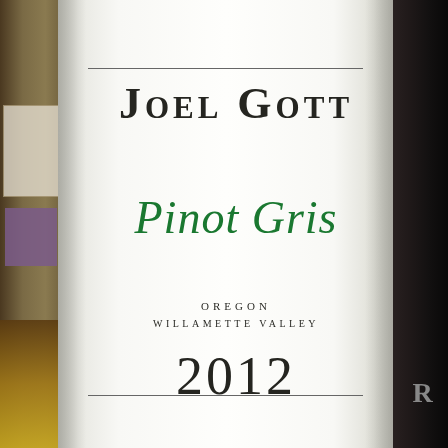[Figure (photo): Wine bottle label photograph: Joel Gott Pinot Gris, Oregon, Willamette Valley, 2012. White label with green cursive script for varietal name, dark serif type for brand and vintage, photographed on a store shelf.]
Joel Gott
Pinot Gris
OREGON
WILLAMETTE VALLEY
2012